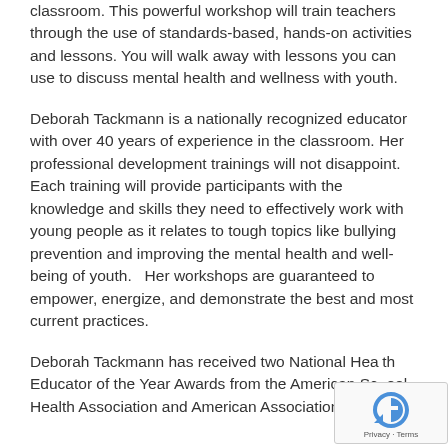classroom. This powerful workshop will train teachers through the use of standards-based, hands-on activities and lessons. You will walk away with lessons you can use to discuss mental health and wellness with youth.
Deborah Tackmann is a nationally recognized educator with over 40 years of experience in the classroom. Her professional development trainings will not disappoint. Each training will provide participants with the knowledge and skills they need to effectively work with young people as it relates to tough topics like bullying prevention and improving the mental health and well-being of youth.   Her workshops are guaranteed to empower, energize, and demonstrate the best and most current practices.
Deborah Tackmann has received two National Health Educator of the Year Awards from the American School Health Association and American Association for Health